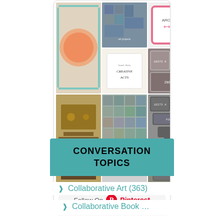[Figure (screenshot): Pinterest widget showing a grid of pinned images including art books, craft images, license plates, and a shop interior, with a Follow On Pinterest button]
CONVERSATION TOPICS
Collaborative Art (363)
Collaborative Book …